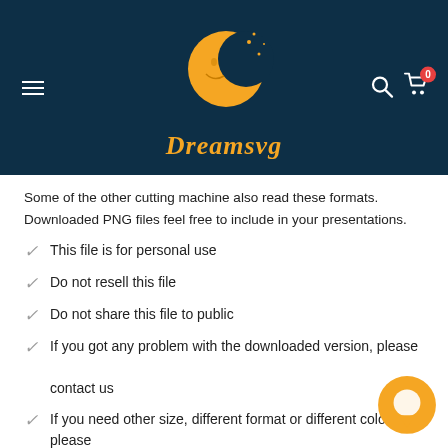[Figure (logo): Dreamsvg logo with crescent moon illustration and brand name in italic gold text on dark teal background, with hamburger menu icon on left and search/cart icons on right]
Some of the other cutting machine also read these formats. Downloaded PNG files feel free to include in your presentations.
This file is for personal use
Do not resell this file
Do not share this file to public
If you got any problem with the downloaded version, please contact us
If you need other size, different format or different color, please